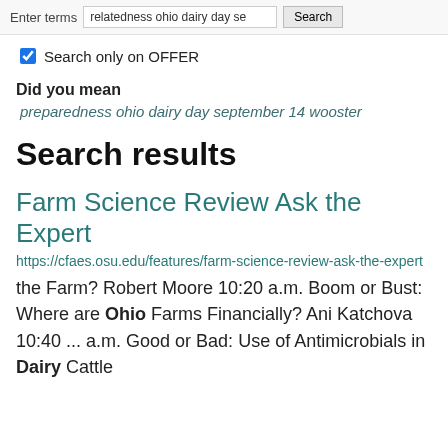Enter terms  relatedness ohio dairy day se  Search
Search only on OFFER
Did you mean
preparedness ohio dairy day september 14 wooster
Search results
Farm Science Review Ask the Expert
https://cfaes.osu.edu/features/farm-science-review-ask-the-expert
the Farm? Robert Moore 10:20 a.m. Boom or Bust: Where are Ohio Farms Financially? Ani Katchova 10:40 ... a.m. Good or Bad: Use of Antimicrobials in Dairy Cattle